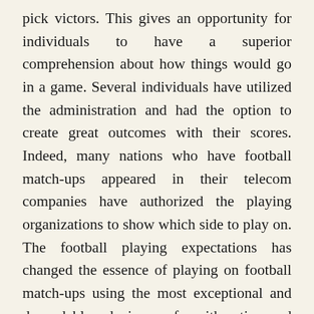pick victors. This gives an opportunity for individuals to have a superior comprehension about how things would go in a game. Several individuals have utilized the administration and had the option to create great outcomes with their scores. Indeed, many nations who have football match-ups appeared in their telecom companies have authorized the playing organizations to show which side to play on. The football playing expectations has changed the essence of playing on football match-ups using the most exceptional and dependable devices of arithmetic and likelihood.